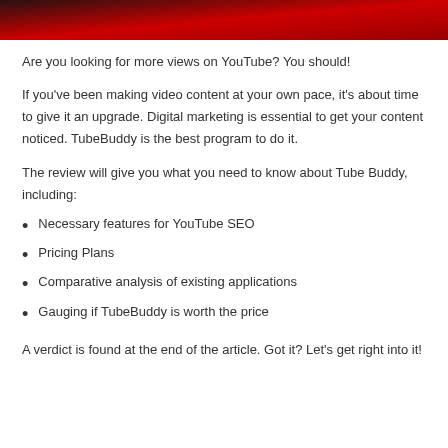[Figure (photo): Dark reddish banner image at top of page]
Are you looking for more views on YouTube? You should!
If you've been making video content at your own pace, it's about time to give it an upgrade. Digital marketing is essential to get your content noticed. TubeBuddy is the best program to do it.
The review will give you what you need to know about Tube Buddy, including:
Necessary features for YouTube SEO
Pricing Plans
Comparative analysis of existing applications
Gauging if TubeBuddy is worth the price
A verdict is found at the end of the article. Got it? Let’s get right into it!